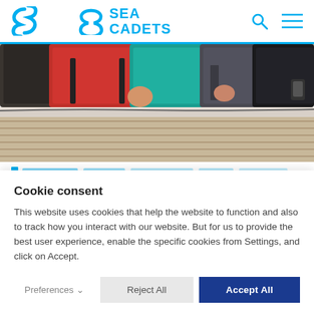[Figure (logo): Sea Cadets logo with stylized S icon and blue text reading SEA CADETS]
[Figure (photo): Close-up photo of people in life jackets on a boat, showing red, teal, and dark colored jackets with a wooden deck visible below]
Cookie consent
This website uses cookies that help the website to function and also to track how you interact with our website. But for us to provide the best user experience, enable the specific cookies from Settings, and click on Accept.
Preferences
Reject All
Accept All